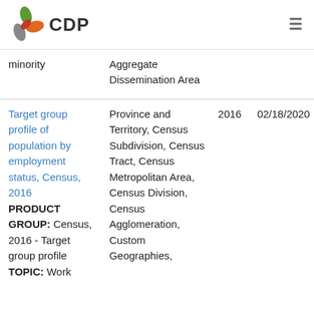CDP
| Name | Geography | Year | Date |
| --- | --- | --- | --- |
| minority | Aggregate Dissemination Area |  |  |
| Target group profile of population by employment status, Census, 2016 PRODUCT GROUP: Census, 2016 - Target group profile TOPIC: Work | Province and Territory, Census Subdivision, Census Tract, Census Metropolitan Area, Census Division, Census Agglomeration, Custom Geographies, | 2016 | 02/18/2020 |